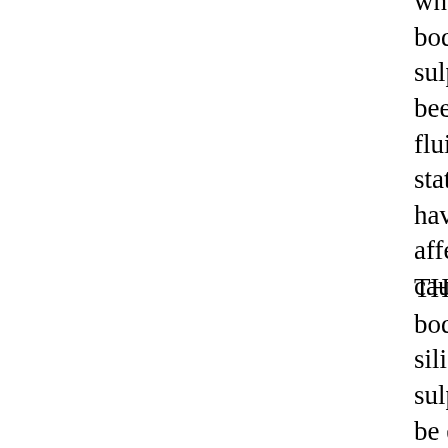whatever cause those bodies of siliceous and sulphureous matter had been changed from a fluid to a concreted state, the strata must have been similarly affected by the same cause.
THESE two species of bodies, therefore, the siliceous and the sulphureous, may now be examined, in relation to the causes of their concretion, with a view to